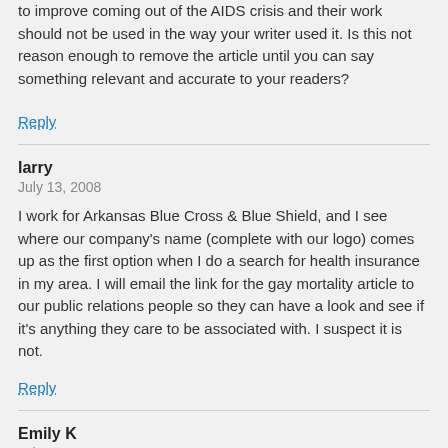to improve coming out of the AIDS crisis and their work should not be used in the way your writer used it. Is this not reason enough to remove the article until you can say something relevant and accurate to your readers?
Reply
larry
July 13, 2008
I work for Arkansas Blue Cross & Blue Shield, and I see where our company's name (complete with our logo) comes up as the first option when I do a search for health insurance in my area. I will email the link for the gay mortality article to our public relations people so they can have a look and see if it's anything they care to be associated with. I suspect it is not.
Reply
Emily K
July 13, 2008
Larry, thank you very much.
Reply